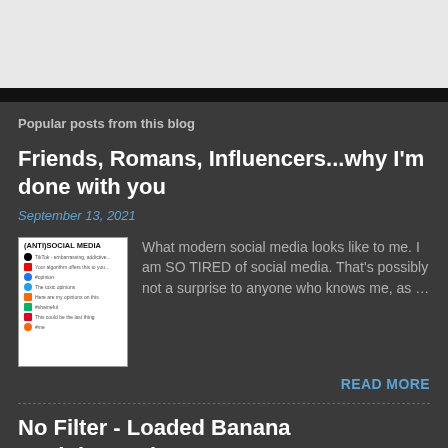Popular posts from this blog
Friends, Romans, Influencers...why I'm done with you
September 13, 2021
[Figure (screenshot): (ANTI)SOCIAL MEDIA listing with social media platform icons and names]
What modern social media looks like to me. I am SO TIRED of social media. That's possibly not a surprise to anyone who knows me, as ...
READ MORE
No Filter - Loaded Banana #RainbowSnippets #LGBTQIA